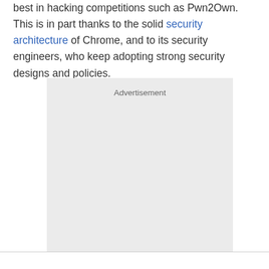best in hacking competitions such as Pwn2Own. This is in part thanks to the solid security architecture of Chrome, and to its security engineers, who keep adopting strong security designs and policies.
[Figure (other): Advertisement placeholder box with light gray background and 'Advertisement' label at top]